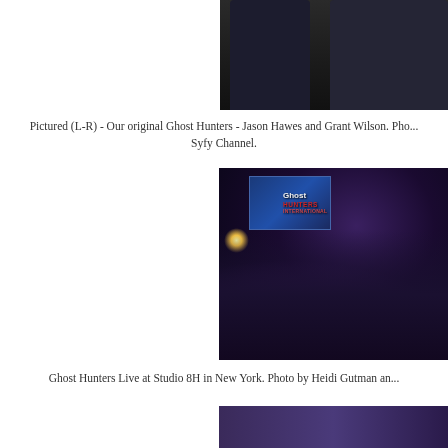[Figure (photo): Top portion of a photo showing two people in dark shirts - Jason Hawes and Grant Wilson from Ghost Hunters, cropped at torso level]
Pictured (L-R) - Our original Ghost Hunters - Jason Hawes and Grant Wilson. Photo by Syfy Channel.
[Figure (photo): Ghost Hunters Live event at Studio 8H in New York. An overhead view of an audience in a dark venue with purple lighting, a Ghost Hunters Live screen/monitor visible at the top, and a person on stage to the right.]
Ghost Hunters Live at Studio 8H in New York. Photo by Heidi Gutman and...
[Figure (photo): Bottom portion of another photo showing a purple-lit scene, partially visible]